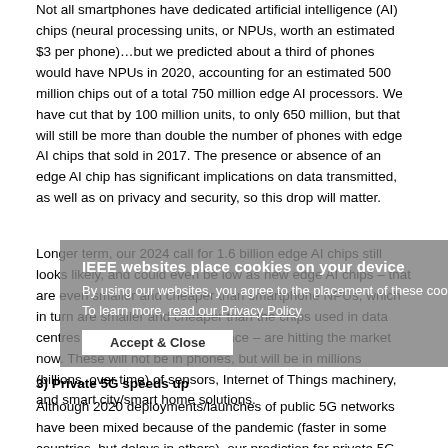Not all smartphones have dedicated artificial intelligence (AI) chips (neural processing units, or NPUs, worth an estimated $3 per phone)…but we predicted about a third of phones would have NPUs in 2020, accounting for an estimated 500 million chips out of a total 750 million edge AI processors. We have cut that by 100 million units, to only 650 million, but that will still be more than double the number of phones with edge AI chips that sold in 2017. The presence or absence of an edge AI chip has significant implications on data transmitted, as well as on privacy and security, so this drop will matter.
Longer term, our 2024 call for 1.6 billion edge AI chips still looks likely, and could even be low as new edge AI chips – that are even smaller and cheaper than smartphone NPUs, which in turn are smaller and cheaper than the chips used in data centres for AI training and inference – are hitting the market now. These will not be in phones, but will be in millions (billions, over time) of sensors, Internet of Things machinery, and smart city/smart home solutions.
3) Private 5G speeds up
Although 2020 deployments/launches of public 5G networks have been mixed because of the pandemic (faster in some countries, but delays in others), our prediction for private 5G trials and pilots looks like it will be exceeded. We're taking our prediction for private 5G